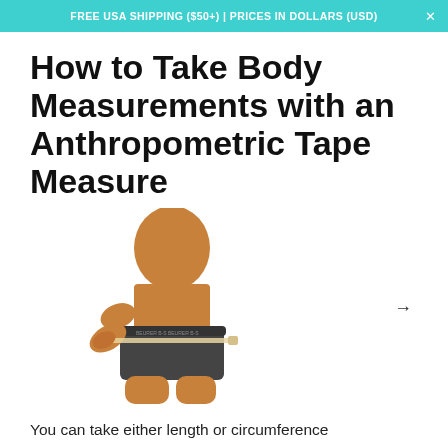FREE USA SHIPPING ($50+) | PRICES IN DOLLARS (USD)
How to Take Body Measurements with an Anthropometric Tape Measure
[Figure (photo): A person wearing dark shorts measuring their hip/waist area with an anthropometric tape measure.]
You can take either length or circumference measurements of the body with a tape measure to know what type of body you have. An anthropometric (body) tape measure